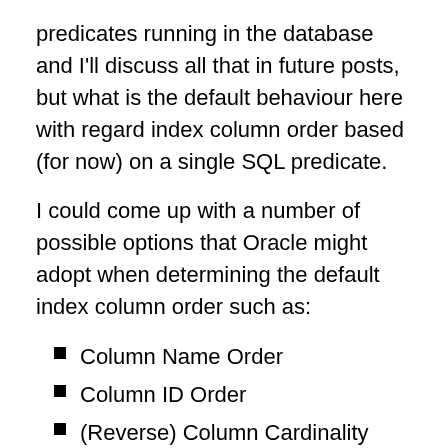predicates running in the database and I'll discuss all that in future posts, but what is the default behaviour here with regard index column order based (for now) on a single SQL predicate.
I could come up with a number of possible options that Oracle might adopt when determining the default index column order such as:
Column Name Order
Column ID Order
(Reverse) Column Cardinality Order
Best Clustering Factor
Other (Random even)
So to investigate this, I started with a basic table with 3 columns (CODE1, CODE2, CODE3) that had differing levels of cardinality.